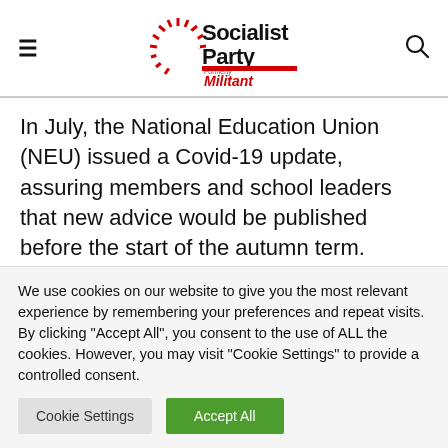Socialist Party (formerly Militant) — navigation header
In July, the National Education Union (NEU) issued a Covid-19 update, assuring members and school leaders that new advice would be published before the start of the autumn term. Union reps were also advised to remind school management that risk assessments will need to be revised in
We use cookies on our website to give you the most relevant experience by remembering your preferences and repeat visits. By clicking "Accept All", you consent to the use of ALL the cookies. However, you may visit "Cookie Settings" to provide a controlled consent.